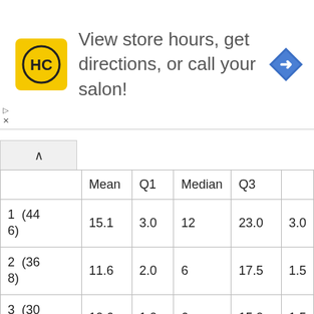[Figure (other): Hair Club (HC) advertisement banner: yellow square logo with HC initials, text 'View store hours, get directions, or call your salon!', blue diamond navigation icon on right]
|  | Mean | Q1 | Median | Q3 |  |
| --- | --- | --- | --- | --- | --- |
| 1  (446) | 15.1 | 3.0 | 12 | 23.0 | 3.0 |
| 2  (368) | 11.6 | 2.0 | 6 | 17.5 | 1.5 |
| 3  (309) | 10.6 | 1.0 | 6 | 15.0 | 1.5 |
| 4  (282) | 8.8 | 1.0 | 4 | 14.0 | 1.0 |